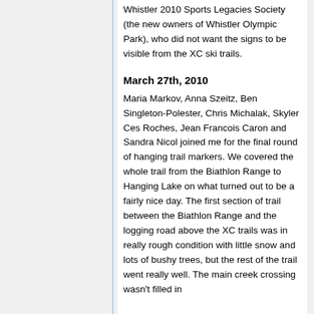Whistler 2010 Sports Legacies Society (the new owners of Whistler Olympic Park), who did not want the signs to be visible from the XC ski trails.
March 27th, 2010
Maria Markov, Anna Szeitz, Ben Singleton-Polester, Chris Michalak, Skyler Ces Roches, Jean Francois Caron and Sandra Nicol joined me for the final round of hanging trail markers. We covered the whole trail from the Biathlon Range to Hanging Lake on what turned out to be a fairly nice day. The first section of trail between the Biathlon Range and the logging road above the XC trails was in really rough condition with little snow and lots of bushy trees, but the rest of the trail went really well. The main creek crossing wasn't filled in